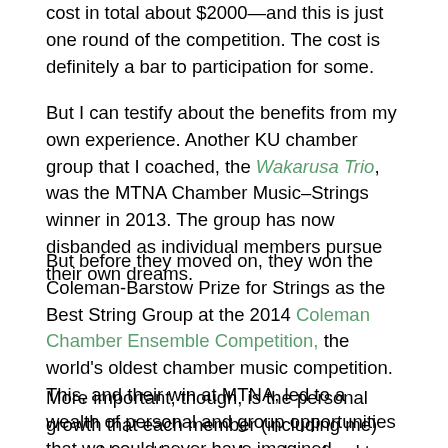cost in total about $2000—and this is just one round of the competition. The cost is definitely a bar to participation for some.
But I can testify about the benefits from my own experience. Another KU chamber group that I coached, the Wakarusa Trio, was the MTNA Chamber Music–Strings winner in 2013. The group has now disbanded as individual members pursue their own dreams.
But before they moved on, they won the Coleman-Barstow Prize for Strings as the Best String Group at the 2014 Coleman Chamber Ensemble Competition, the world's oldest chamber music competition. This, and their win at MTNA, led to a wealth of personal and group opportunities that we could never have imagined.
More important, though, is the personal growth that each member (including me) earned by setting a goal, working hard to achieve it and coping with all the problems and disappointments along the way. And finally, the prizes...